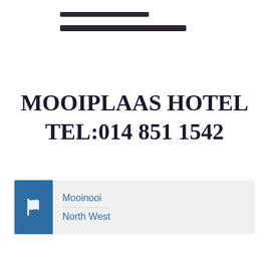[Figure (other): Two horizontal dark lines of different widths, resembling a logo or decorative element at the top of the page]
MOOIPLAAS HOTEL TEL:014 851 1542
Mooinooi
North West